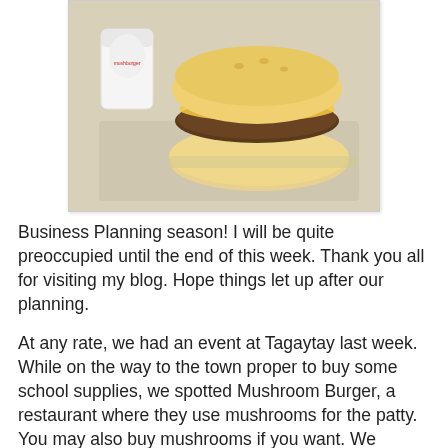[Figure (photo): Photo of a mushroom burger on a bun with cheese and tomato, alongside a paper cup, placed on a plastic tray. A 'Mushroom Burger' branded cup is visible in the background.]
Business Planning season! I will be quite preoccupied until the end of this week. Thank you all for visiting my blog. Hope things let up after our planning.
At any rate, we had an event at Tagaytay last week. While on the way to the town proper to buy some school supplies, we spotted Mushroom Burger, a restaurant where they use mushrooms for the patty. You may also buy mushrooms if you want. We decided to drop by for a quick lunch.
Mushroom Burger once had a branch in Greenbelt. But when the place was renovated years ago, the restaurant row disappeared, which included a Japanese shop (was it Tokyo Tokyo?) and a "lugawan" (congee shop). So I believe you